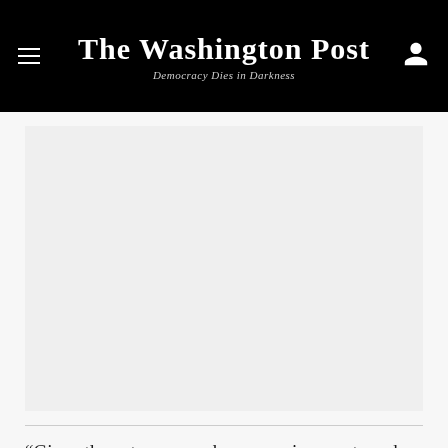The Washington Post — Democracy Dies in Darkness
[Figure (photo): Large image area placeholder (light gray rectangle), representing a photo or media element embedded in the article.]
“Given the extremes we have seen in recent weeks, one